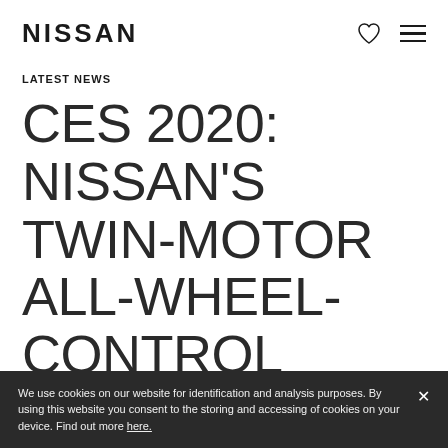NISSAN
LATEST NEWS
CES 2020: NISSAN'S TWIN-MOTOR ALL-WHEEL-CONTROL TECHNOLOGY IS A FORCE TO BE
We use cookies on our website for identification and analysis purposes. By using this website you consent to the storing and accessing of cookies on your device. Find out more here.